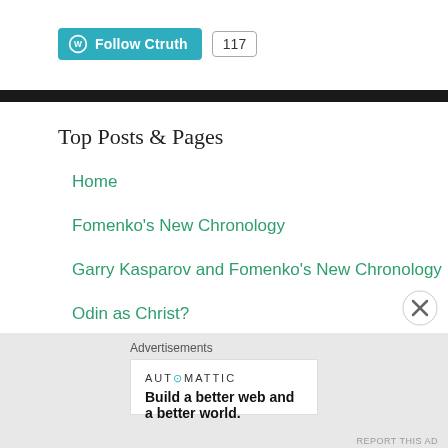[Figure (other): WordPress Follow Ctruth button with follower count 117]
Top Posts & Pages
Home
Fomenko's New Chronology
Garry Kasparov and Fomenko's New Chronology
Odin as Christ?
Advertisements
AUTOMATTIC — Build a better web and a better world.
REPORT THIS AD